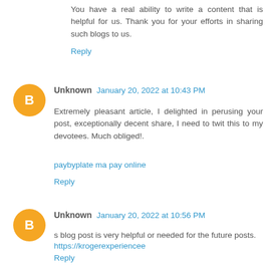You have a real ability to write a content that is helpful for us. Thank you for your efforts in sharing such blogs to us.
Reply
Unknown January 20, 2022 at 10:43 PM
Extremely pleasant article, I delighted in perusing your post, exceptionally decent share, I need to twit this to my devotees. Much obliged!.
paybyplate ma pay online
Reply
Unknown January 20, 2022 at 10:56 PM
s blog post is very helpful or needed for the future posts.
https://krogerexperiencee
Reply